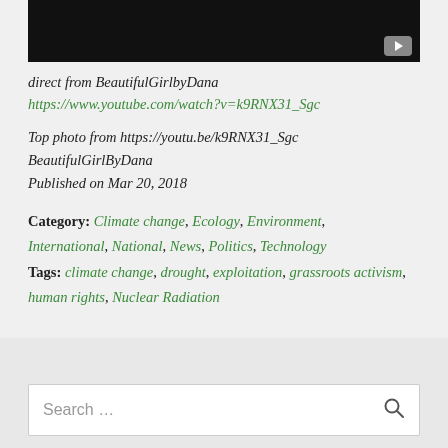[Figure (screenshot): Black video player with play button in bottom-right corner]
direct from BeautifulGirlbyDana
https://www.youtube.com/watch?v=k9RNX31_Sgc
Top photo from https://youtu.be/k9RNX31_Sgc
BeautifulGirlByDana
Published on Mar 20, 2018
Category: Climate change, Ecology, Environment, International, National, News, Politics, Technology
Tags: climate change, drought, exploitation, grassroots activism, human rights, Nuclear Radiation
Search ...